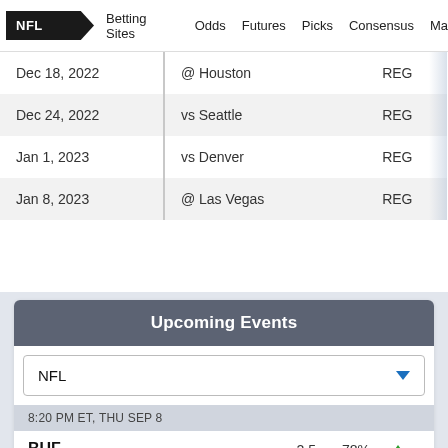NFL | Betting Sites | Odds | Futures | Picks | Consensus | Ma...
| Date | Opponent | Type |
| --- | --- | --- |
| Dec 18, 2022 | @ Houston | REG |
| Dec 24, 2022 | vs Seattle | REG |
| Jan 1, 2023 | vs Denver | REG |
| Jan 8, 2023 | @ Las Vegas | REG |
Upcoming Events
NFL
8:20 PM ET, THU SEP 8
BUF  -2.5  78%
LAR  +2.5  22%  52
1:00 PM ET, SUN SEP 11